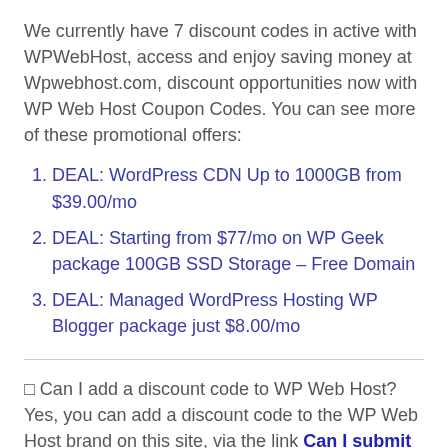We currently have 7 discount codes in active with WPWebHost, access and enjoy saving money at Wpwebhost.com, discount opportunities now with WP Web Host Coupon Codes. You can see more of these promotional offers:
DEAL: WordPress CDN Up to 1000GB from $39.00/mo
DEAL: Starting from $77/mo on WP Geek package 100GB SSD Storage – Free Domain
DEAL: Managed WordPress Hosting WP Blogger package just $8.00/mo
⬜ Can I add a discount code to WP Web Host? Yes, you can add a discount code to the WP Web Host brand on this site, via the link Can I submit a WPWebHost coupon code. This will save more